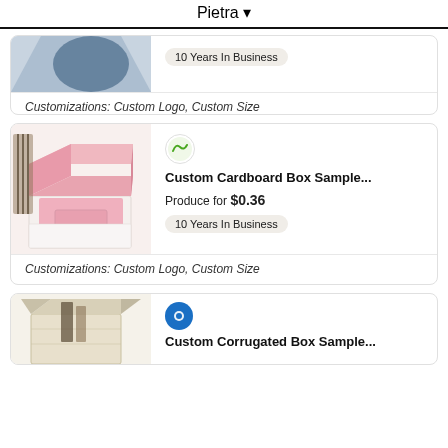Pietra ▾
10 Years In Business
Customizations: Custom Logo, Custom Size
[Figure (photo): Open pink cardboard gift box with foam insert, shown with decorative items in background]
Custom Cardboard Box Sample...
Produce for $0.36
10 Years In Business
Customizations: Custom Logo, Custom Size
[Figure (photo): White corrugated cardboard box open, partially visible at bottom of page]
Custom Corrugated Box Sample...